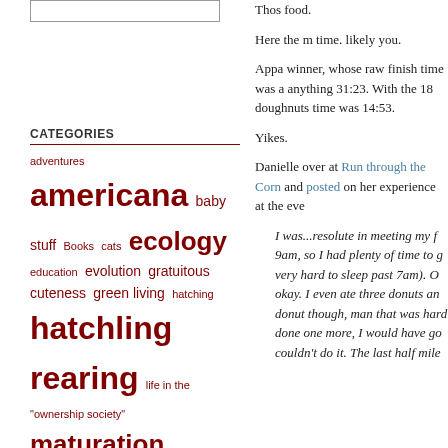[Figure (other): Search box input field]
CATEGORIES
adventures americana baby stuff Books cats ecology education evolution gratuitous cuteness green living hatching hatchling rearing life in the "ownership society" maturation news paternal illumination pregnancy student life the innernets the midwestern experience
ARCHIVES
January 2009
December 2008
November 2008
September 2008
July 2008
June 2008
May 2008
April 2008
March 2008
Those food.
Here the m time. likely you.
Appa winner, whose raw finish time was a anything 31:23. With the 18 doughnuts time was 14:53.
Yikes.
Danielle over at Run through the Corn and posted on her experience at the eve
I was...resolute in meeting my f 9am, so I had plenty of time to g very hard to sleep past 7am). O okay. I even ate three donuts an donut though, man that was hard done one more, I would have go couldn't do it. The last half mile